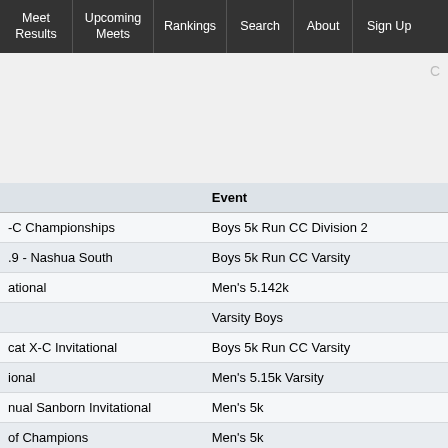Meet Results | Upcoming Meets | Rankings | Search | About | Sign Up
|  | Event |
| --- | --- |
| -C Championships | Boys 5k Run CC Division 2 |
| .9 - Nashua South | Boys 5k Run CC Varsity |
| ational | Men's 5.142k |
|  | Varsity Boys |
| cat X-C Invitational | Boys 5k Run CC Varsity |
| ional | Men's 5.15k Varsity |
| nual Sanborn Invitational | Men's 5k |
| of Champions | Men's 5k |
| -C Championships | Boys 5k Run CC Division 2 |
| .8 | Boys 5k Run CC Varsity |
| ational | Men's 5.142k |
|  | Varsity Boys |
| t XC Invitational | Boys 5k Run CC Varsity |